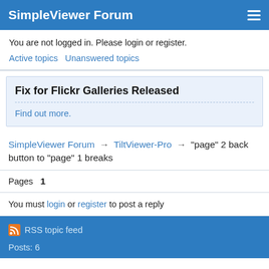SimpleViewer Forum
You are not logged in. Please login or register.
Active topics   Unanswered topics
Fix for Flickr Galleries Released
Find out more.
SimpleViewer Forum → TiltViewer-Pro → "page" 2 back button to "page" 1 breaks
Pages   1
You must login or register to post a reply
RSS topic feed
Posts: 6